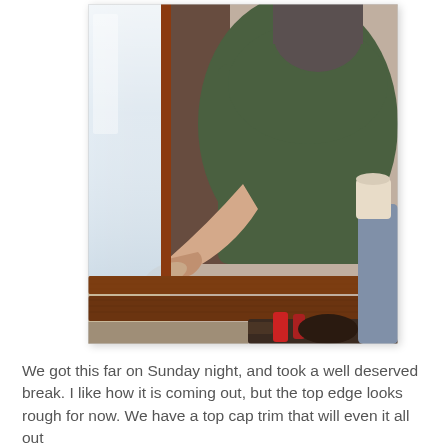[Figure (photo): A person in a dark green t-shirt leaning over a window frame, working on wooden window trim/sill renovation. Tools and wooden strips visible on the floor below. A window with light coming through is visible on the left side.]
We got this far on Sunday night, and took a well deserved break.  I like how it is coming out, but the top edge looks rough for now.  We have a top cap trim that will even it all out